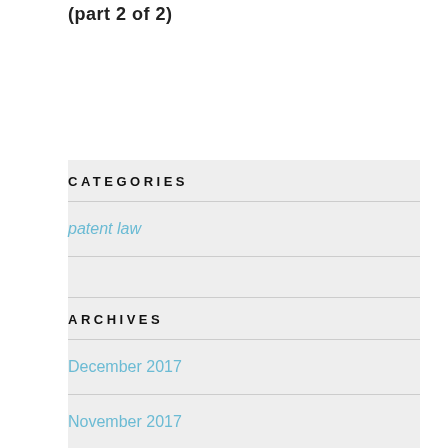(part 2 of 2)
CATEGORIES
patent law
ARCHIVES
December 2017
November 2017
October 2017
September 2017